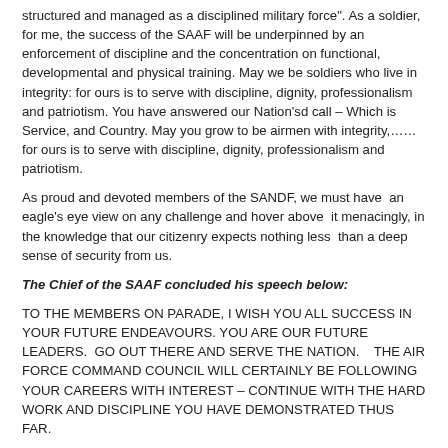structured and managed as a disciplined military force". As a soldier, for me, the success of the SAAF will be underpinned by an enforcement of discipline and the concentration on functional, developmental and physical training. May we be soldiers who live in integrity: for ours is to serve with discipline, dignity, professionalism and patriotism. You have answered our Nation'sd call – Which is Service, and Country. May you grow to be airmen with integrity,…… for ours is to serve with discipline, dignity, professionalism and patriotism.
As proud and devoted members of the SANDF, we must have an eagle's eye view on any challenge and hover above it menacingly, in the knowledge that our citizenry expects nothing less than a deep sense of security from us.
The Chief of the SAAF concluded his speech below:
TO THE MEMBERS ON PARADE, I WISH YOU ALL SUCCESS IN YOUR FUTURE ENDEAVOURS. YOU ARE OUR FUTURE LEADERS.  GO OUT THERE AND SERVE THE NATION.   THE AIR FORCE COMMAND COUNCIL WILL CERTAINLY BE FOLLOWING YOUR CAREERS WITH INTEREST – CONTINUE WITH THE HARD WORK AND DISCIPLINE YOU HAVE DEMONSTRATED THUS FAR.